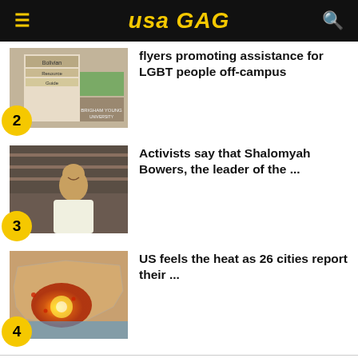USA GAG
[Figure (photo): Thumbnail image showing a bulletin board with 'Bolivian Resource Guide' flyer and Brigham Young University sign. Badge number 2.]
flyers promoting assistance for LGBT people off-campus
[Figure (photo): Thumbnail image of a man in white clothing smiling. Badge number 3.]
Activists say that Shalomyah Bowers, the leader of the ...
[Figure (photo): Thumbnail image of a US map showing heat/temperature data with red/orange highlights. Badge number 4.]
US feels the heat as 26 cities report their ...
READ NEXT 1.1 Million File Jobless Claims, Labor Market Remains Unstable Amid Pandemic